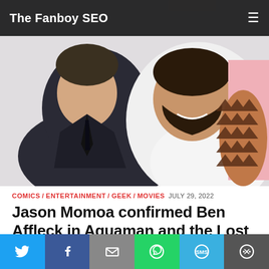The Fanboy SEO
[Figure (photo): Two men taking a selfie together — one in a dark suit and one smiling with tattooed arm, showing tribal tattoo pattern]
COMICS / ENTERTAINMENT / GEEK / MOVIES JULY 29, 2022
Jason Momoa confirmed Ben Affleck in Aquaman and the Lost Kingdom
Jason Momoa pretty much confirmed that Ben Affleck in Aquaman and the Lost Kingdom aka Aquaman 2 is happening by posting a photo of him and the former